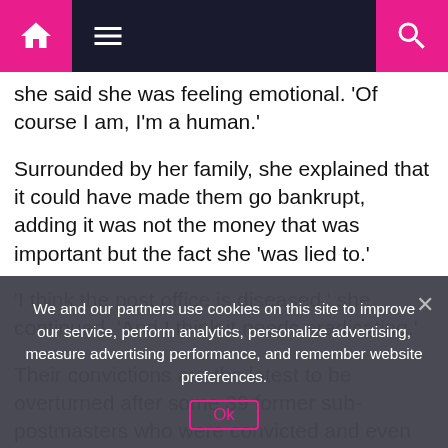Navigation bar with home, menu, and search icons
she said she was feeling emotional. 'Of course I am, I'm a human.'
Surrounded by her family, she explained that it could have made them go bankrupt, adding it was not the money that was important but the fact she 'was lied to.'
'I think the post office is diseased,' she continued, 'And I think it needs eradicating.'
Their convictions are the latest to be overturned after some 39 former sub-postmasters who were convicted and even
We and our partners use cookies on this site to improve our service, perform analytics, personalize advertising, measure advertising performance, and remember website preferences.